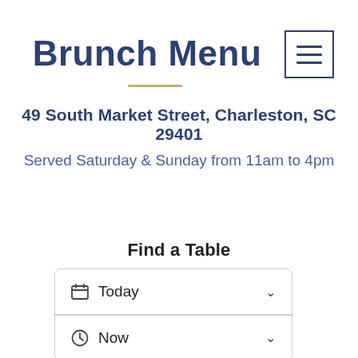Brunch Menu
49 South Market Street, Charleston, SC 29401
Served Saturday & Sunday from 11am to 4pm
Find a Table
Today
Now